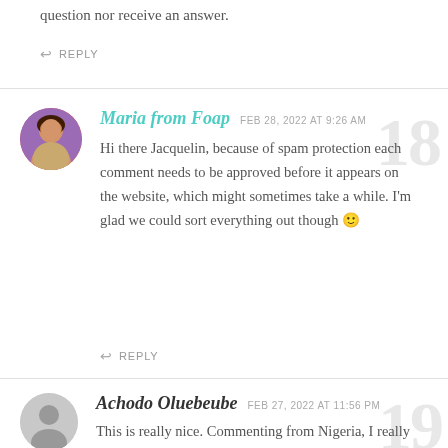question nor receive an answer.
REPLY
Maria from Foap  FEB 28, 2022 AT 9:26 AM
Hi there Jacquelin, because of spam protection each comment needs to be approved before it appears on the website, which might sometimes take a while. I'm glad we could sort everything out though 🙂
REPLY
Achodo Oluebeube  FEB 27, 2022 AT 11:56 PM
This is really nice. Commenting from Nigeria, I really like the layout of the competition. This